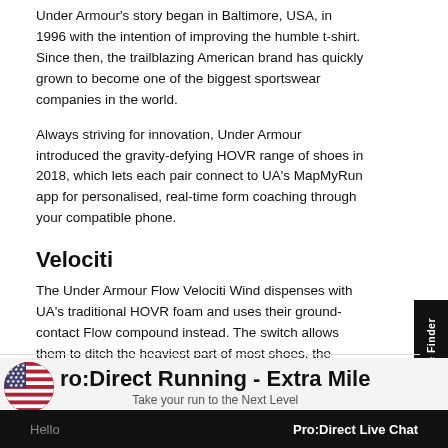Under Armour's story began in Baltimore, USA, in 1996 with the intention of improving the humble t-shirt. Since then, the trailblazing American brand has quickly grown to become one of the biggest sportswear companies in the world.
Always striving for innovation, Under Armour introduced the gravity-defying HOVR range of shoes in 2018, which lets each pair connect to UA's MapMyRun app for personalised, real-time form coaching through your compatible phone.
Velociti
The Under Armour Flow Velociti Wind dispenses with UA's traditional HOVR foam and uses their ground-contact Flow compound instead. The switch allows them to ditch the heaviest part of most shoes, the outsole rubber, giving improved traction, proven durability, and a lighter feel. The result is a fast yet grippy shoe that's ideally suited to speed training.
[Figure (logo): Running Shoe Finder vertical tab on right side]
[Figure (logo): US flag circle icon next to Pro:Direct Running - Extra Mile banner]
Pro:Direct Running - Extra Mile
Take your run to the Next Level
Hello    Pro:Direct Live Chat